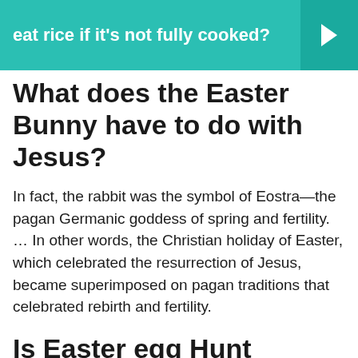eat rice if it's not fully cooked?
What does the Easter Bunny have to do with Jesus?
In fact, the rabbit was the symbol of Eostra—the pagan Germanic goddess of spring and fertility. … In other words, the Christian holiday of Easter, which celebrated the resurrection of Jesus, became superimposed on pagan traditions that celebrated rebirth and fertility.
Is Easter egg Hunt biblical?
Easter egg hunts and egg rolling are two popular egg-related traditions. … The event